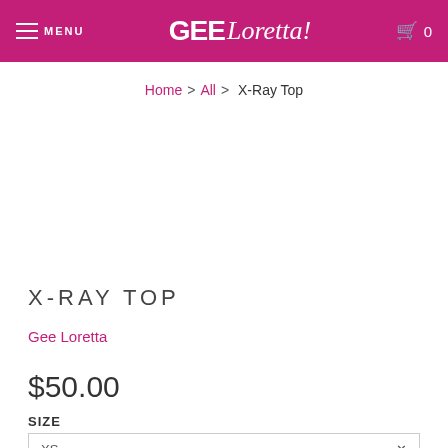MENU | GEE Loretta! | 0
Home > All > X-Ray Top
X-RAY TOP
Gee Loretta
$50.00
SIZE
XS